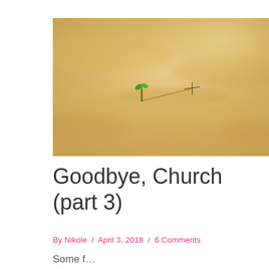[Figure (photo): Close-up photo of sandy desert surface with a tiny green seedling sprouting from the sand, casting a cross-shaped shadow.]
Goodbye, Church (part 3)
By Nikole / April 3, 2018 / 6 Comments
Some fragment of text beginning with 'S' — partially visible at bottom